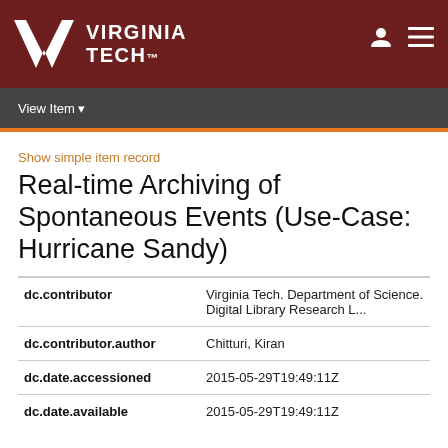VIRGINIA TECH
View Item
Show simple item record
Real-time Archiving of Spontaneous Events (Use-Case: Hurricane Sandy)
| Field | Value |
| --- | --- |
| dc.contributor | Virginia Tech. Department of Science. Digital Library Research L... |
| dc.contributor.author | Chitturi, Kiran |
| dc.date.accessioned | 2015-05-29T19:49:11Z |
| dc.date.available | 2015-05-29T19:49:11Z |